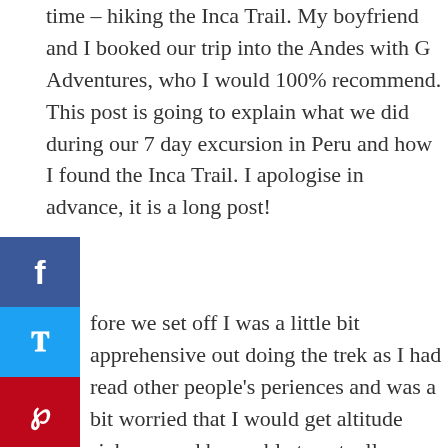time – hiking the Inca Trail. My boyfriend and I booked our trip into the Andes with G Adventures, who I would 100% recommend. This post is going to explain what we did during our 7 day excursion in Peru and how I found the Inca Trail. I apologise in advance, it is a long post!
fore we set off I was a little bit apprehensive out doing the trek as I had read other people's periences and was a bit worried that I would get altitude sickness and be unable to actually arrive at Machu Picchu.
We arrived into Cusco at around midday and spend a few hours looking around Plaza de Armas before heading to our G adventures meeting where the